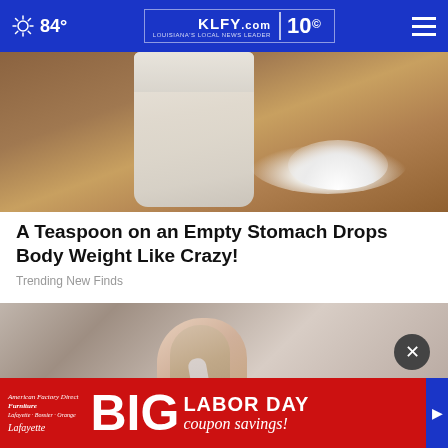84° KLFY.com 10
[Figure (photo): Close-up photo of a glass jar with white powder and a pile of white powder on a wooden surface]
A Teaspoon on an Empty Stomach Drops Body Weight Like Crazy!
Trending New Finds
[Figure (photo): Close-up photo of a person's ear with a cotton swab, with advertisement overlay: BIG LABOR DAY coupon savings! - American Factory Direct Furniture, Lafayette]